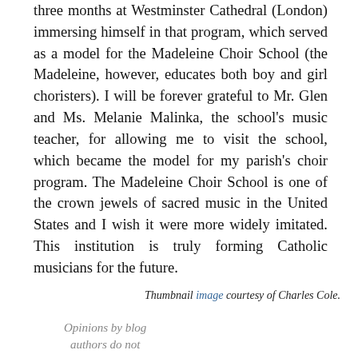three months at Westminster Cathedral (London) immersing himself in that program, which served as a model for the Madeleine Choir School (the Madeleine, however, educates both boy and girl choristers). I will be forever grateful to Mr. Glen and Ms. Melanie Malinka, the school's music teacher, for allowing me to visit the school, which became the model for my parish's choir program. The Madeleine Choir School is one of the crown jewels of sacred music in the United States and I wish it were more widely imitated. This institution is truly forming Catholic musicians for the future.
Thumbnail image courtesy of Charles Cole.
Opinions by blog authors do not